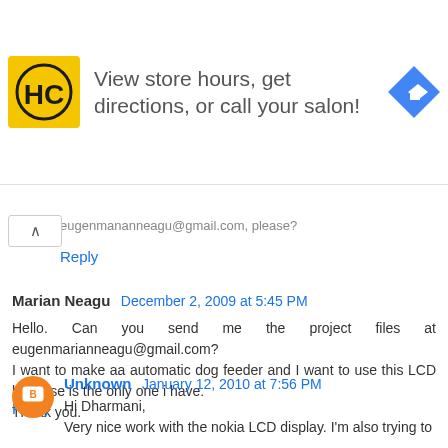[Figure (infographic): Advertisement banner: HC logo (yellow square with HC letters), text 'View store hours, get directions, or call your salon!', blue diamond direction arrow icon]
eugenmananneagu@gmail.com, please?
Reply
Marian Neagu December 2, 2009 at 5:45 PM
Hello. Can you send me the project files at eugenmarianneagu@gmail.com?
I want to make aa automatic dog feeder and I want to use this LCD because is the only one i have.
Thank you.
Reply
Unknown January 12, 2010 at 7:56 PM
Hi Dharmani,
Very nice work with the nokia LCD display. I'm also trying to